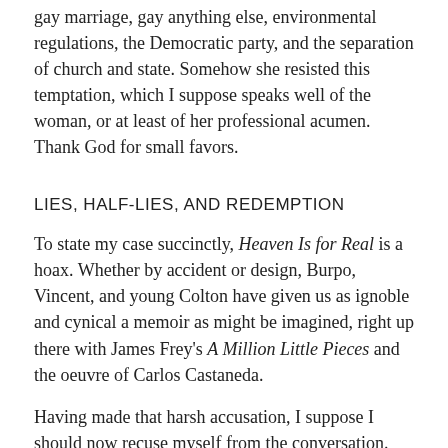gay marriage, gay anything else, environmental regulations, the Democratic party, and the separation of church and state. Somehow she resisted this temptation, which I suppose speaks well of the woman, or at least of her professional acumen. Thank God for small favors.
LIES, HALF-LIES, AND REDEMPTION
To state my case succinctly, Heaven Is for Real is a hoax. Whether by accident or design, Burpo, Vincent, and young Colton have given us as ignoble and cynical a memoir as might be imagined, right up there with James Frey's A Million Little Pieces and the oeuvre of Carlos Castaneda.
Having made that harsh accusation, I suppose I should now recuse myself from the conversation. After all, the book in question was manifestly not written for atheists like myself. It was concocted by devout believers for devout believers.